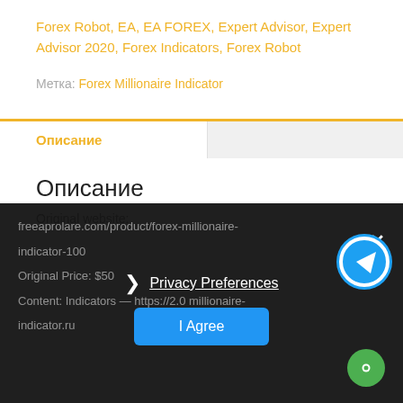Forex Robot, EA, EA FOREX, Expert Advisor, Expert Advisor 2020, Forex Indicators, Forex Robot
Метка: Forex Millionaire Indicator
Описание
Описание
Original website:
freeaprolare.com/product/forex-millionaire-indicator-100
Original Price: $50
Content: Indicators — https://2.0 millionaire-indicator.ru
Privacy Preferences — I Agree